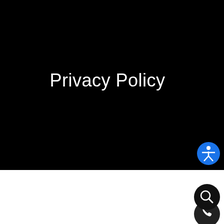Privacy Policy
[Figure (screenshot): Accessibility icon (blue circle with white person figure), email envelope icon, phone icon, and search magnifying glass icon along the right edge of the page]